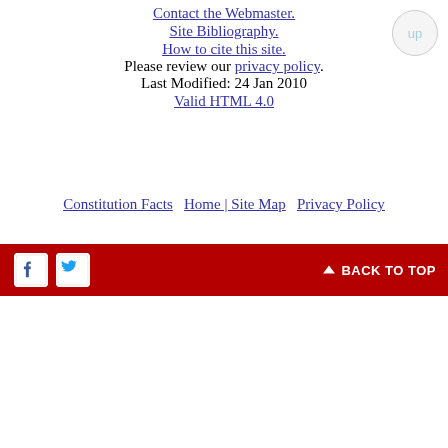Contact the Webmaster. Site Bibliography. How to cite this site. Please review our privacy policy. Last Modified: 24 Jan 2010 Valid HTML 4.0
up
Constitution Facts  Home | Site Map  Privacy Policy
BACK TO TOP